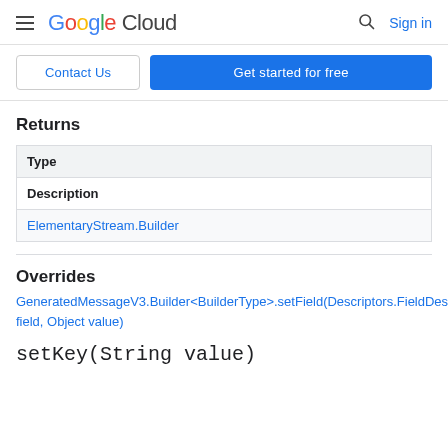Google Cloud  Sign in
Contact Us | Get started for free
Returns
| Type |
| --- |
| Description |
| ElementaryStream.Builder |
Overrides
GeneratedMessageV3.Builder<BuilderType>.setField(Descriptors.FieldDescriptor field, Object value)
setKey(String value)